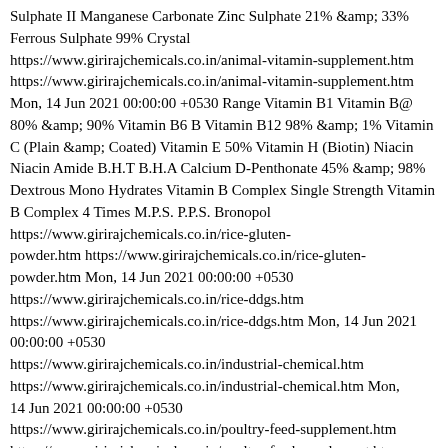Sulphate II Manganese Carbonate Zinc Sulphate 21% &amp; 33% Ferrous Sulphate 99% Crystal https://www.girirajchemicals.co.in/animal-vitamin-supplement.htm https://www.girirajchemicals.co.in/animal-vitamin-supplement.htm Mon, 14 Jun 2021 00:00:00 +0530 Range Vitamin B1 Vitamin B@ 80% &amp; 90% Vitamin B6 B Vitamin B12 98% &amp; 1% Vitamin C (Plain &amp; Coated) Vitamin E 50% Vitamin H (Biotin) Niacin Niacin Amide B.H.T B.H.A Calcium D-Penthonate 45% &amp; 98% Dextrous Mono Hydrates Vitamin B Complex Single Strength Vitamin B Complex 4 Times M.P.S. P.P.S. Bronopol https://www.girirajchemicals.co.in/rice-gluten-powder.htm https://www.girirajchemicals.co.in/rice-gluten-powder.htm Mon, 14 Jun 2021 00:00:00 +0530 https://www.girirajchemicals.co.in/rice-ddgs.htm https://www.girirajchemicals.co.in/rice-ddgs.htm Mon, 14 Jun 2021 00:00:00 +0530 https://www.girirajchemicals.co.in/industrial-chemical.htm https://www.girirajchemicals.co.in/industrial-chemical.htm Mon, 14 Jun 2021 00:00:00 +0530 https://www.girirajchemicals.co.in/poultry-feed-supplement.htm https://www.girirajchemicals.co.in/poultry-feed-supplement.htm Mon, 14 Jun 2021 00:00:00 +0530 https://www.girirajchemicals.co.in/flavours-food-additives.htm https://www.girirajchemicals.co.in/flavours-food-additives.htm Mon, 14 Jun 2021 00:00:00 +0530